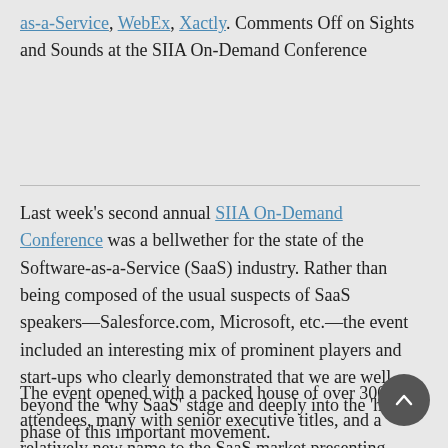as-a-Service, WebEx, Xactly. Comments Off on Sights and Sounds at the SIIA On-Demand Conference
Last week's second annual SIIA On-Demand Conference was a bellwether for the state of the Software-as-a-Service (SaaS) industry. Rather than being composed of the usual suspects of SaaS speakers—Salesforce.com, Microsoft, etc.—the event included an interesting mix of prominent players and start-ups who clearly demonstrated that we are well beyond the 'why SaaS' stage and deeply into the 'how' phase of this important movement.
The event opened with a packed house of over 300 attendees, many with senior executive titles, and a relatively new name to the SaaS market presenting. Donald Proctor, the Senior Vice President of Cisco Systems' Collaboration